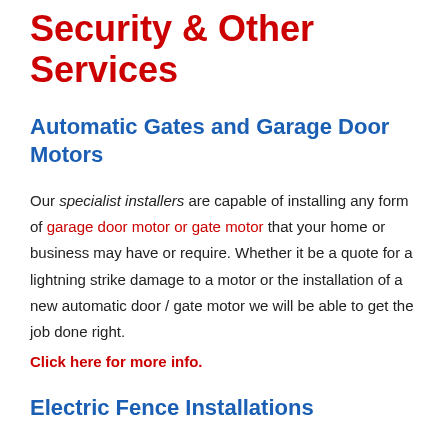Security & Other Services
Automatic Gates and Garage Door Motors
Our specialist installers are capable of installing any form of garage door motor or gate motor that your home or business may have or require. Whether it be a quote for a lightning strike damage to a motor or the installation of a new automatic door / gate motor we will be able to get the job done right.
Click here for more info.
Electric Fence Installations